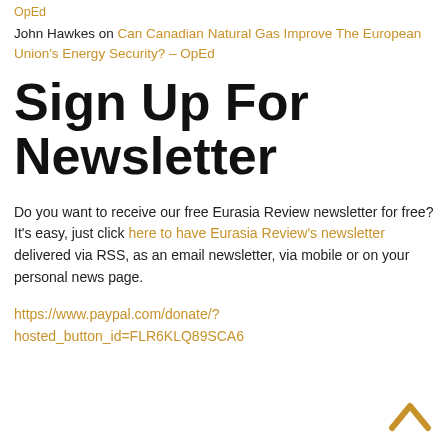OpEd
John Hawkes on Can Canadian Natural Gas Improve The European Union's Energy Security? – OpEd
Sign Up For Newsletter
Do you want to receive our free Eurasia Review newsletter for free? It's easy, just click here to have Eurasia Review's newsletter delivered via RSS, as an email newsletter, via mobile or on your personal news page.
https://www.paypal.com/donate/?hosted_button_id=FLR6KLQ89SCA6